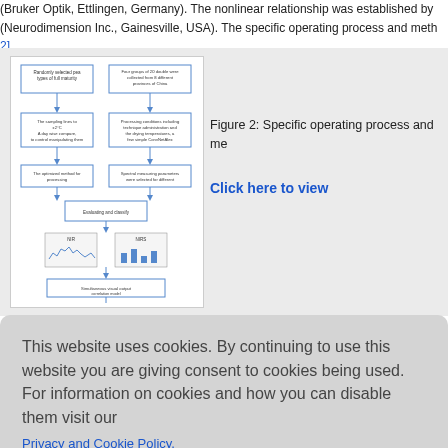(Bruker Optik, Ettlingen, Germany). The nonlinear relationship was established by (Neurodimension Inc., Gainesville, USA). The specific operating process and meth 2].
[Figure (flowchart): Flowchart showing specific operating process and method steps including sample selection, collection, processing, spectral measurement, preprocessing, and classification with NIR and NIRS outputs leading to yes/no decision.]
Figure 2: Specific operating process and me...
Click here to view
This website uses cookies. By continuing to use this website you are giving consent to cookies being used. For information on cookies and how you can disable them visit our
Privacy and Cookie Policy.
AGREE & PROCEED
e tested to atment me MMN), mu (SNV), fist sing metho
The most widely used methods for ANN models were OE, M were smoothed to improve spectral smooth more. The optimum smooth points were 15.